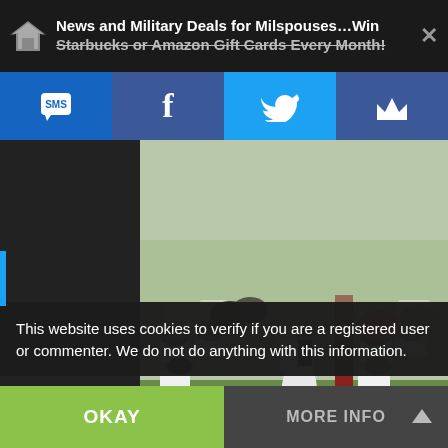News and Military Deals for Milspouses…Win Starbucks or Amazon Gift Cards Every Month!
[Figure (screenshot): Social sharing toolbar with SMS, Facebook, Twitter, and crown/logo buttons]
[Figure (photo): Outdoor military wedding ceremony with bride and groom at altar, guests seated in white chairs on grass]
Image Credit: Sanderling Gallery
…ns to be something for the military spouses …he fiancee's, well fret no longer ladies this
…military service member yourself or a …you can have the chance to win…
This website uses cookies to verify if you are a registered user or commenter. We do not do anything with this information.
OKAY | MORE INFO